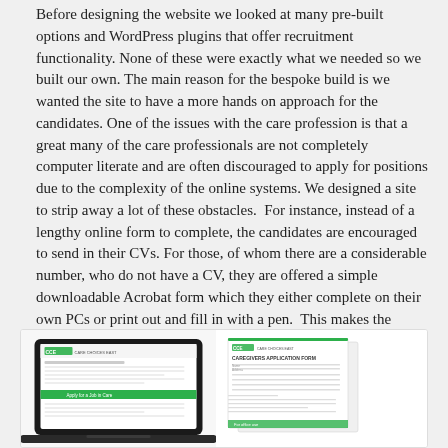Before designing the website we looked at many pre-built options and WordPress plugins that offer recruitment functionality. None of these were exactly what we needed so we built our own. The main reason for the bespoke build is we wanted the site to have a more hands on approach for the candidates. One of the issues with the care profession is that a great many of the care professionals are not completely computer literate and are often discouraged to apply for positions due to the complexity of the online systems. We designed a site to strip away a lot of these obstacles.  For instance, instead of a lengthy online form to complete, the candidates are encouraged to send in their CVs. For those, of whom there are a considerable number, who do not have a CV, they are offered a simple downloadable Acrobat form which they either complete on their own PCs or print out and fill in with a pen.  This makes the positions accessible to all.
[Figure (screenshot): Screenshot showing a laptop displaying a care recruitment website (CCE Care Choices East) on the left, and a document application form from CCE on the right.]